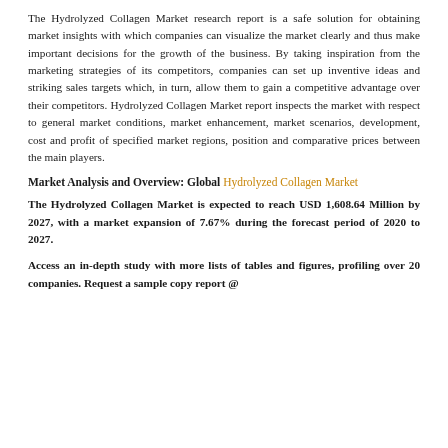The Hydrolyzed Collagen Market research report is a safe solution for obtaining market insights with which companies can visualize the market clearly and thus make important decisions for the growth of the business. By taking inspiration from the marketing strategies of its competitors, companies can set up inventive ideas and striking sales targets which, in turn, allow them to gain a competitive advantage over their competitors. Hydrolyzed Collagen Market report inspects the market with respect to general market conditions, market enhancement, market scenarios, development, cost and profit of specified market regions, position and comparative prices between the main players.
Market Analysis and Overview: Global Hydrolyzed Collagen Market
The Hydrolyzed Collagen Market is expected to reach USD 1,608.64 Million by 2027, with a market expansion of 7.67% during the forecast period of 2020 to 2027.
Access an in-depth study with more lists of tables and figures, profiling over 20 companies. Request a sample copy report @